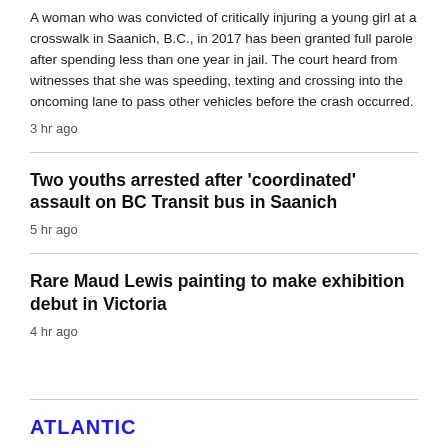A woman who was convicted of critically injuring a young girl at a crosswalk in Saanich, B.C., in 2017 has been granted full parole after spending less than one year in jail. The court heard from witnesses that she was speeding, texting and crossing into the oncoming lane to pass other vehicles before the crash occurred.
3 hr ago
Two youths arrested after 'coordinated' assault on BC Transit bus in Saanich
5 hr ago
Rare Maud Lewis painting to make exhibition debut in Victoria
4 hr ago
ATLANTIC